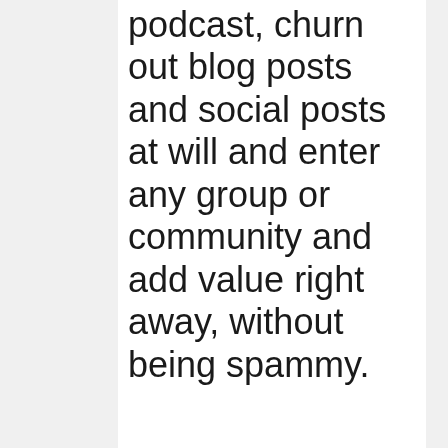podcast, churn out blog posts and social posts at will and enter any group or community and add value right away, without being spammy.
In today's episode, I give you a detailed example of how I have used my TOC Technique myself to create a book, a podcast, and how you too can churn out blog posts and social posts at will and enter any group or community and add value right away, without being